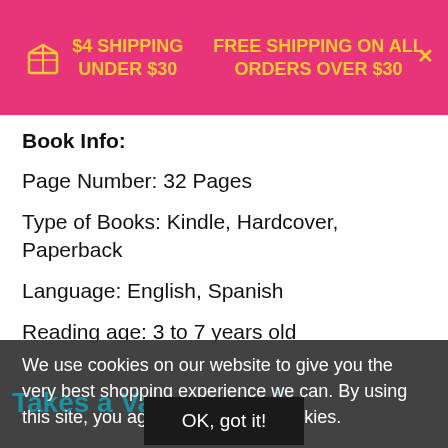$4 SHIPPING UNDER $30    FREE SHIPPING ON ALL ORDERS OVER $30
Book Info:
Page Number: 32 Pages
Type of Books: Kindle, Hardcover, Paperback
Language: English, Spanish
Reading age: 3 to 7 years old
We use cookies on our website to give you the very best shopping experience we can. By using this site, you agree to its use of cookies.
OK, got it!